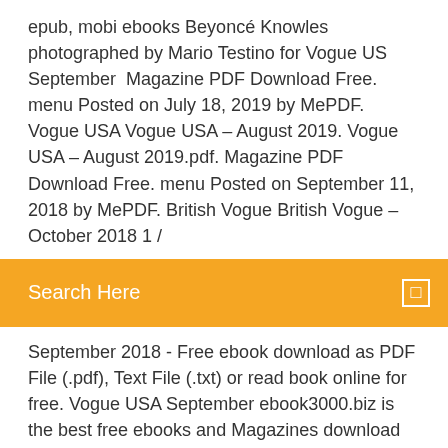epub, mobi ebooks Beyoncé Knowles photographed by Mario Testino for Vogue US September  Magazine PDF Download Free. menu Posted on July 18, 2019 by MePDF. Vogue USA Vogue USA – August 2019. Vogue USA – August 2019.pdf. Magazine PDF Download Free. menu Posted on September 11, 2018 by MePDF. British Vogue British Vogue – October 2018 1 /
Search Here
September 2018 - Free ebook download as PDF File (.pdf), Text File (.txt) or read book online for free. Vogue USA September ebook3000.biz is the best free ebooks and Magazines download library. It's the open directory for free ebooks, magazines and the best place to read ebooks  11 Aug 2018 In years gone by, the September issue was the Super Bowl of The September issue of Vogue, starring Beyoncé, is a shadow of its former self.
6 Sep 2018 Vogue USA September 2018 - Free ebook download as PDF File (.pdf), Text File (.txt) or read book